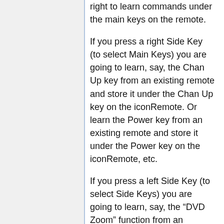right to learn commands under the main keys on the remote.
If you press a right Side Key (to select Main Keys) you are going to learn, say, the Chan Up key from an existing remote and store it under the Chan Up key on the iconRemote. Or learn the Power key from an existing remote and store it under the Power key on the iconRemote, etc.
If you press a left Side Key (to select Side Keys) you are going to learn, say, the “DVD Zoom” function from an existing remote and store it under a Side Key on the iconRemote. You will then be able to name the key “DVD Zoom” and access this “DVD Zoom” function from the Mode screen when the remote is in the mode that you selected when you